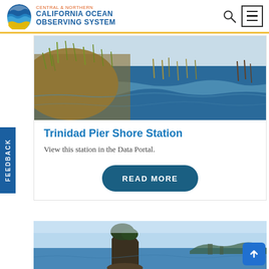Central & Northern California Ocean Observing System
[Figure (photo): Coastal scene with grassy dunes on the left and ocean waves in the background, rocky shoreline]
Trinidad Pier Shore Station
View this station in the Data Portal.
READ MORE
[Figure (photo): Coastal scene with rocky sea stacks and forested cliffs along a blue-sky coastline]